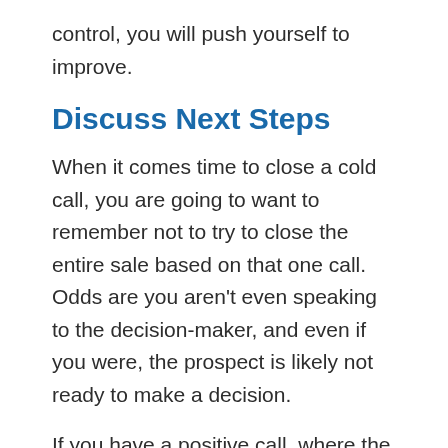control, you will push yourself to improve.
Discuss Next Steps
When it comes time to close a cold call, you are going to want to remember not to try to close the entire sale based on that one call. Odds are you aren't even speaking to the decision-maker, and even if you were, the prospect is likely not ready to make a decision.
If you have a positive call, where the prospect indicates they'd like to learn more about the product or service, you'll want to